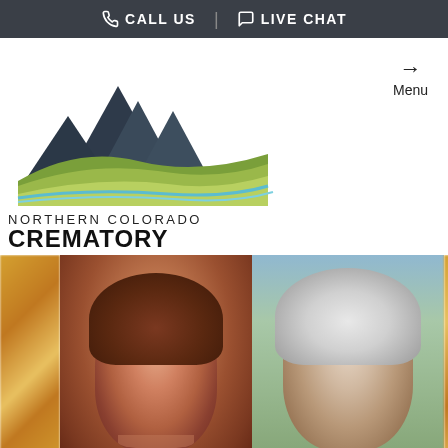CALL US | LIVE CHAT
[Figure (logo): Northern Colorado Crematory logo with mountain and rolling hills graphic, teal water curve at base. Text: NORTHERN COLORADO CREMATORY]
Menu
[Figure (photo): Slideshow of memorial photos: warm blurred candle/cross image on left, portrait of smiling middle-aged woman with brown hair, portrait of elderly woman with white hair smiling, partial blurred candle/cross image on right]
Share A Memory
Send Flowers